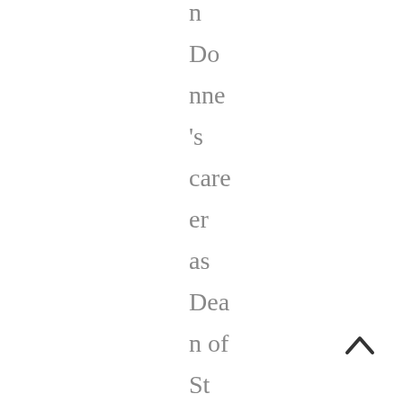n Do nne 's care er as Dea n of St Pau l's
[Figure (illustration): A back/up arrow chevron icon in dark gray, positioned in the bottom-right corner of the page]